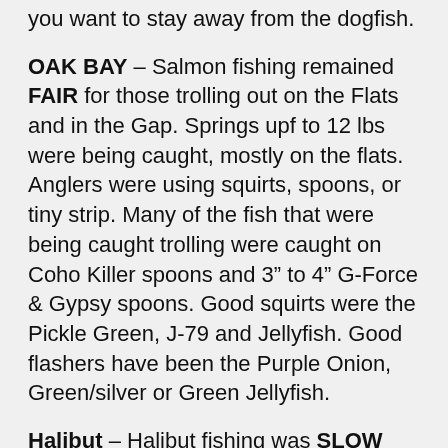you want to stay away from the dogfish.
OAK BAY – Salmon fishing remained FAIR for those trolling out on the Flats and in the Gap. Springs upf to 12 lbs were being caught, mostly on the flats. Anglers were using squirts, spoons, or tiny strip. Many of the fish that were being caught trolling were caught on Coho Killer spoons and 3″ to 4″ G-Force & Gypsy spoons. Good squirts were the Pickle Green, J-79 and Jellyfish. Good flashers have been the Purple Onion, Green/silver or Green Jellyfish.
Halibut – Halibut fishing was SLOW this past week. Halibut were biting at the current changes and dog fish were a bit of an issue. Anglers that were fishing were using extra large herring, salmon bellies and/or octopus